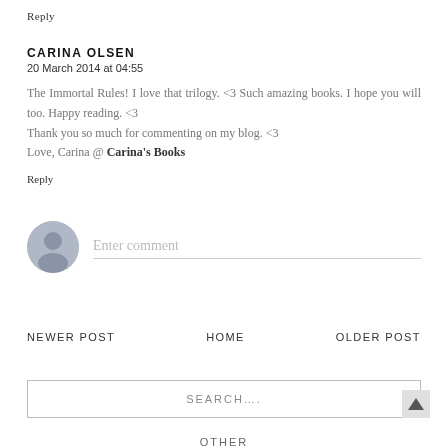Reply
CARINA OLSEN
20 March 2014 at 04:55
The Immortal Rules! I love that trilogy. <3 Such amazing books. I hope you will too. Happy reading. <3
Thank you so much for commenting on my blog. <3
Love, Carina @ Carina's Books
Reply
[Figure (other): User avatar placeholder circle with silhouette icon]
Enter comment
NEWER POST
HOME
OLDER POST
SEARCH....
OTHER